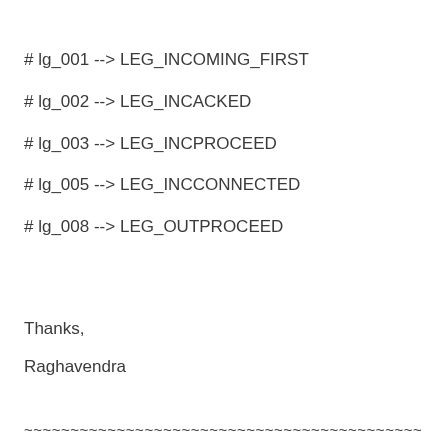# lg_001 --> LEG_INCOMING_FIRST
# lg_002 --> LEG_INCACKED
# lg_003 --> LEG_INCPROCEED
# lg_005 --> LEG_INCCONNECTED
# lg_008 --> LEG_OUTPROCEED
Thanks,
Raghavendra
~~~~~~~~~~~~~~~~~~~~~~~~~~~~~~~~~~~~~~~~~~~